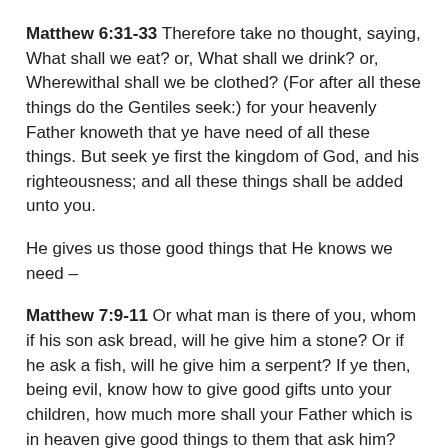Matthew 6:31-33 Therefore take no thought, saying, What shall we eat? or, What shall we drink? or, Wherewithal shall we be clothed? (For after all these things do the Gentiles seek:) for your heavenly Father knoweth that ye have need of all these things. But seek ye first the kingdom of God, and his righteousness; and all these things shall be added unto you.
He gives us those good things that He knows we need –
Matthew 7:9-11 Or what man is there of you, whom if his son ask bread, will he give him a stone? Or if he ask a fish, will he give him a serpent? If ye then, being evil, know how to give good gifts unto your children, how much more shall your Father which is in heaven give good things to them that ask him?